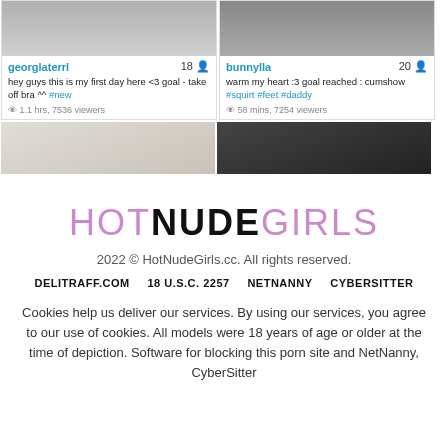[Figure (screenshot): Two webcam stream card thumbnails: left card shows username 'georglaterrl', age 18, description 'hey guys this is my first day here <3 goal - take off bra ^^ #new', 1.1 hrs, 7536 viewers; right card shows username 'bunnylla', age 20, description 'warm my heart :3 goal reached : cumshow #squirt #feet #daddy', 58 mins, 7254 viewers. Below are two partial image cards cropped at bottom.]
HOTNUDEGIRLS
2022 © HotNudeGirls.cc. All rights reserved.
DELITRAFF.COM   18 U.S.C. 2257   NETNANNY   CYBERSITTER
Cookies help us deliver our services. By using our services, you agree to our use of cookies. All models were 18 years of age or older at the time of depiction. Software for blocking this porn site and NetNanny, CyberSitter